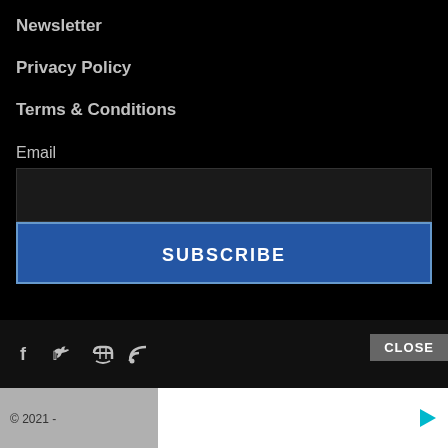Newsletter
Privacy Policy
Terms & Conditions
Email
[Figure (screenshot): Email input field (dark background)]
SUBSCRIBE
[Figure (other): Social icons: Facebook (f), Twitter (bird), RSS feed]
CLOSE
© 2021 -
[Figure (other): Advertisement white box with play icon]